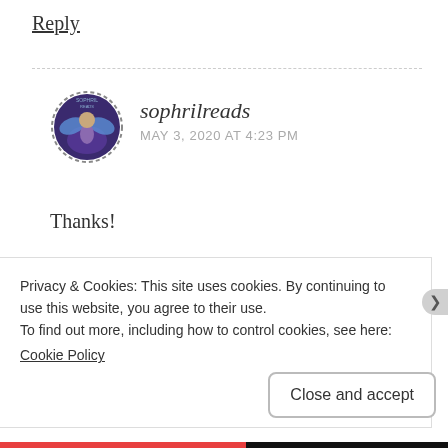Reply
[Figure (illustration): Circular avatar with dashed border showing sophrilreads profile image — purple/dark blue background with fairy-like illustrated character]
sophrilreads
MAY 3, 2020 AT 4:23 PM
Thanks!
★ Liked by 1 person
Reply
Privacy & Cookies: This site uses cookies. By continuing to use this website, you agree to their use.
To find out more, including how to control cookies, see here:
Cookie Policy
Close and accept